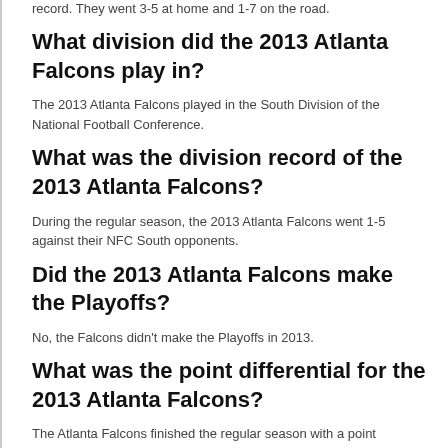record. They went 3-5 at home and 1-7 on the road.
What division did the 2013 Atlanta Falcons play in?
The 2013 Atlanta Falcons played in the South Division of the National Football Conference.
What was the division record of the 2013 Atlanta Falcons?
During the regular season, the 2013 Atlanta Falcons went 1-5 against their NFC South opponents.
Did the 2013 Atlanta Falcons make the Playoffs?
No, the Falcons didn't make the Playoffs in 2013.
What was the point differential for the 2013 Atlanta Falcons?
The Atlanta Falcons finished the regular season with a point differential of -90. Based on their point differential and their